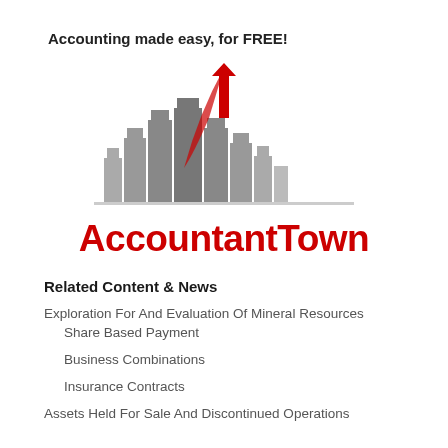Accounting made easy, for FREE!
[Figure (logo): AccountantTown logo: stylized gray city skyline with a red upward-pointing arrow, and bold red text 'AccountantTown' below]
Related Content & News
Exploration For And Evaluation Of Mineral Resources
Share Based Payment
Business Combinations
Insurance Contracts
Assets Held For Sale And Discontinued Operations